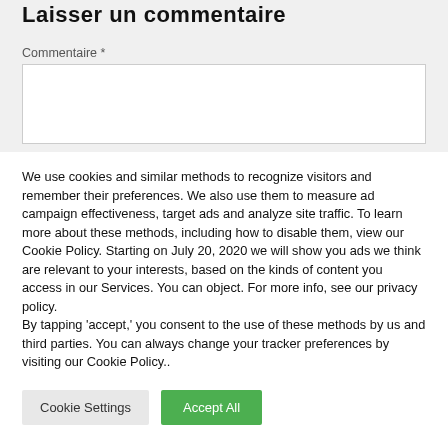Laisser un commentaire
Commentaire *
We use cookies and similar methods to recognize visitors and remember their preferences. We also use them to measure ad campaign effectiveness, target ads and analyze site traffic. To learn more about these methods, including how to disable them, view our Cookie Policy. Starting on July 20, 2020 we will show you ads we think are relevant to your interests, based on the kinds of content you access in our Services. You can object. For more info, see our privacy policy.
By tapping 'accept,' you consent to the use of these methods by us and third parties. You can always change your tracker preferences by visiting our Cookie Policy..
Cookie Settings
Accept All